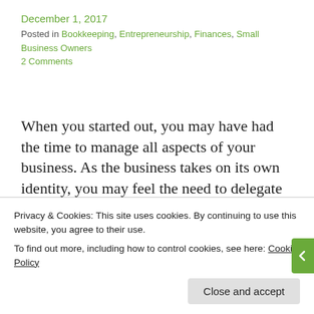December 1, 2017
Posted in Bookkeeping, Entrepreneurship, Finances, Small Business Owners
2 Comments
When you started out, you may have had the time to manage all aspects of your business. As the business takes on its own identity, you may feel the need to delegate some tasks to manage time more efficiently. When you get to this point as a business owner, a bookkeeper is great to have.  Continue
Privacy & Cookies: This site uses cookies. By continuing to use this website, you agree to their use.
To find out more, including how to control cookies, see here: Cookie Policy
Close and accept